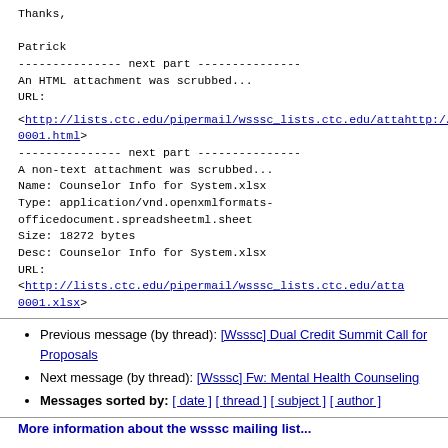Thanks,

Patrick
--------------- next part ---------------
An HTML attachment was scrubbed...
URL:
<http://lists.ctc.edu/pipermail/wsssc_lists.ctc.edu/atta...0001.html>
--------------- next part ---------------
A non-text attachment was scrubbed...
Name: Counselor Info for System.xlsx
Type: application/vnd.openxmlformats-officedocument.spreadsheetml.sheet
Size: 18272 bytes
Desc: Counselor Info for System.xlsx
URL:
<http://lists.ctc.edu/pipermail/wsssc_lists.ctc.edu/atta...0001.xlsx>
Previous message (by thread): [Wsssc] Dual Credit Summit Call for Proposals
Next message (by thread): [Wsssc] Fw: Mental Health Counseling
Messages sorted by: [ date ] [ thread ] [ subject ] [ author ]
More information about the wsssc mailing list...